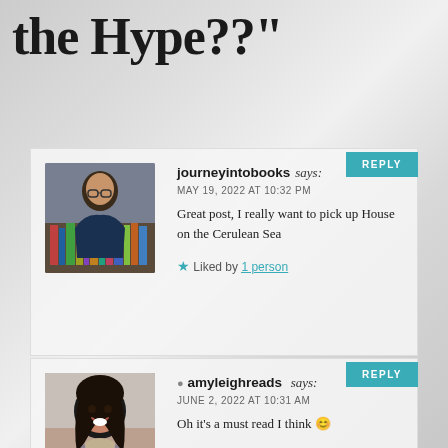the Hype??"
journeyintobooks says:
MAY 19, 2022 AT 10:32 PM
Great post, I really want to pick up House on the Cerulean Sea
Liked by 1 person
amyleighreads says:
JUNE 2, 2022 AT 10:31 AM
Oh it's a must read I think 😊
Liked by 1 person